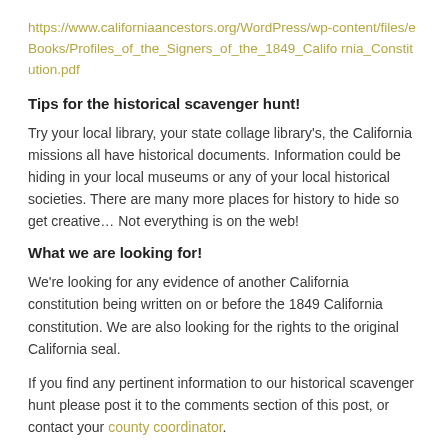https://www.californiaancestors.org/WordPress/wp-content/files/eBooks/Profiles_of_the_Signers_of_the_1849_California_Constitution.pdf
Tips for the historical scavenger hunt!
Try your local library, your state collage library's, the California missions all have historical documents. Information could be hiding in your local museums or any of your local historical societies. There are many more places for history to hide so get creative… Not everything is on the web!
What we are looking for!
We're looking for any evidence of another California constitution being written on or before the 1849 California constitution. We are also looking for the rights to the original California seal.
If you find any pertinent information to our historical scavenger hunt please post it to the comments section of this post, or contact your county coordinator.